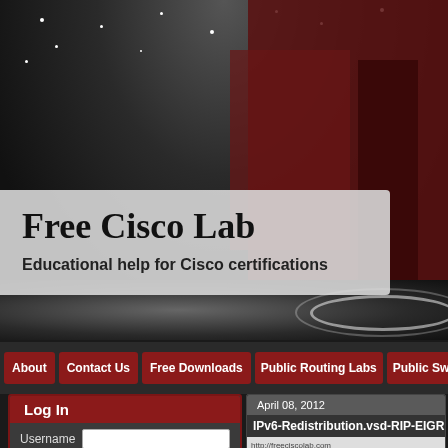[Figure (screenshot): Website screenshot of Free Cisco Lab — dark futuristic background with starfield ceiling, server room imagery, dark red accent panels. Navigation bar with menu items: About, Contact Us, Free Downloads, Public Routing Labs, Public Switch. Login box on bottom left with Username and Password fields. Date strip showing April 08, 2012. Article title starting with IPv6-Redistribution.vsd-RIP-EIGR...]
Free Cisco Lab
Educational help for Cisco certifications
About
Contact Us
Free Downloads
Public Routing Labs
Public Switch
Log In
Username
Password
April 08, 2012
IPv6-Redistribution.vsd-RIP-EIGR